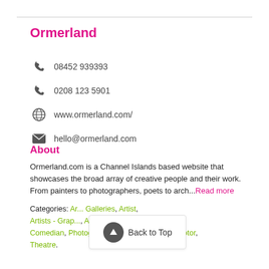Ormerland
08452 939393
0208 123 5901
www.ormerland.com/
hello@ormerland.com
About
Ormerland.com is a Channel Islands based website that showcases the broad array of creative people and their work. From painters to photographers, poets to arch...Read more
Categories: Art, Galleries, Artist, Artists - Graph..., Arts & Crafts, Comedian, Photographers, Poets/Poetry, Sculptor, Theatre.